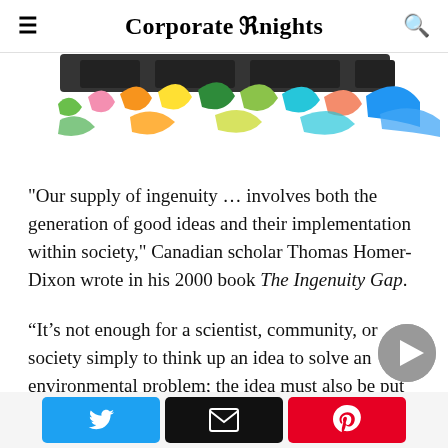Corporate Knights
[Figure (illustration): Colorful paintbrush stroke illustration — partial view of the article header image with multicolored brushstrokes on white background]
"Our supply of ingenuity … involves both the generation of good ideas and their implementation within society," Canadian scholar Thomas Homer-Dixon wrote in his 2000 book The Ingenuity Gap.
“It's not enough for a scientist, community, or society simply to think up an idea to solve an environmental problem; the idea must also be put into practice – the hybrid corn must be planted, the new farming credit
Twitter share | Email share | Pinterest share